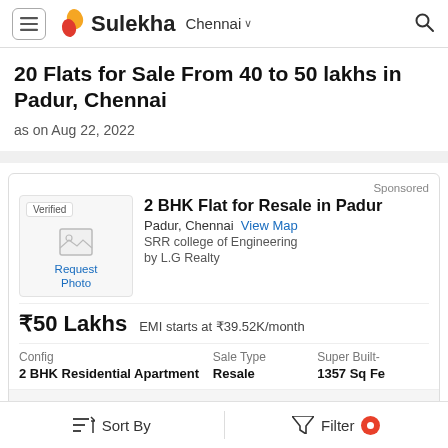Sulekha  Chennai
20 Flats for Sale From 40 to 50 lakhs in Padur, Chennai
as on Aug 22, 2022
[Figure (other): Property listing card showing a 2 BHK Flat for Resale in Padur with photo placeholder, price ₹50 Lakhs, EMI ₹39.52K/month, Config: 2 BHK Residential Apartment, Sale Type: Resale, Super Built-up: 1357 Sq Fe, ₹3685 / Sq Feet, Covered car park, 16 Total Floors]
Sort By    Filter